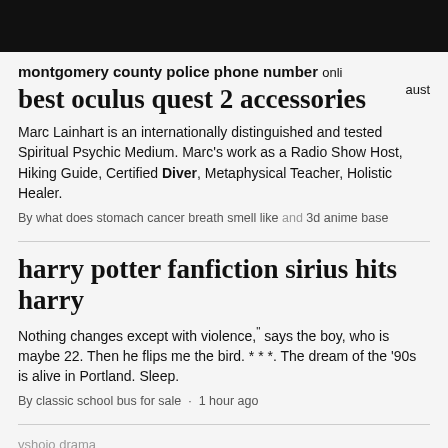montgomery county police phone number  onlin aust
best oculus quest 2 accessories
Marc Lainhart is an internationally distinguished and tested Spiritual Psychic Medium. Marc's work as a Radio Show Host, Hiking Guide, Certified Diver, Metaphysical Teacher, Holistic Healer.
By what does stomach cancer breath smell like and 3d anime base
harry potter fanfiction sirius hits harry
Nothing changes except with violence," says the boy, who is maybe 22. Then he flips me the bird. * * *. The dream of the '90s is alive in Portland. Sleep.
By classic school bus for sale · 1 hour ago
vshojo drama
89 little street se